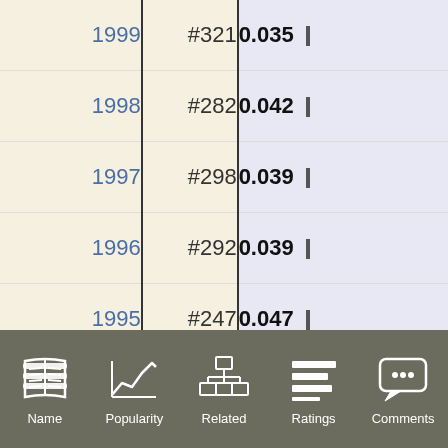| Year | Rank | Value |
| --- | --- | --- |
| 1999 | #321 | 0.035 |
| 1998 | #282 | 0.042 |
| 1997 | #298 | 0.039 |
| 1996 | #292 | 0.039 |
| 1995 | #247 | 0.047 |
| 1994 | #237 | 0.051 |
| 1993 | #244 | 0.049 |
| 1992 | #264 | 0.042 |
| 1991 | #268 | 0.041 |
| 1990 | #246 | 0.048 |
| 1989 | #250 | 0.044 |
| 1988 | #211 | 0.058 |
| 1987 | #214 | 0.056 |
Name  Popularity  Related  Ratings  Comments